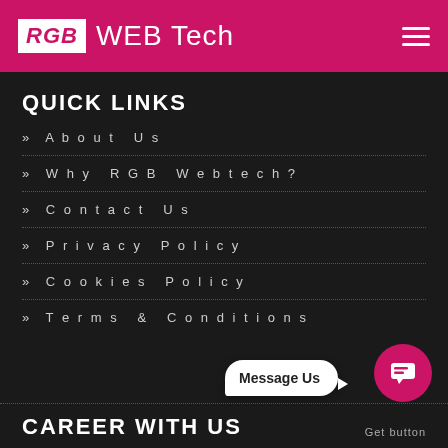RGB WEB Tech
QUICK LINKS
» About Us
» Why RGB Webtech?
» Contact Us
» Privacy Policy
» Cookies Policy
» Terms & Conditions
CAREER WITH US
[Figure (other): Message Us chat widget with pink circular chat button and white speech bubble saying 'Message Us', with label 'Get button' below]